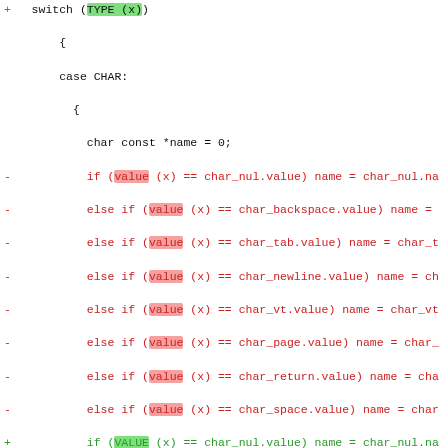Code diff showing switch statement with TYPE(x)/VALUE(x) changes, CHAR and MACRO cases, diff hunk header, and display_helper calls